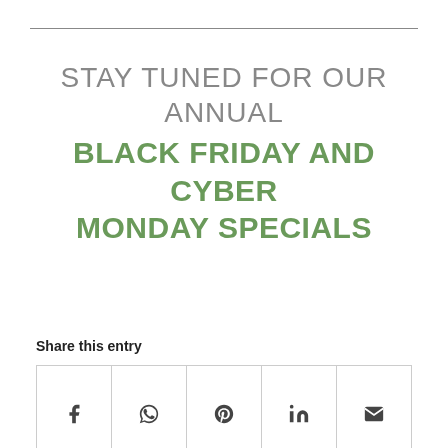STAY TUNED FOR OUR ANNUAL BLACK FRIDAY and CYBER MONDAY SPECIALS
Share this entry
[Figure (other): Social sharing bar with icons: Facebook, WhatsApp, Pinterest, LinkedIn, Email]